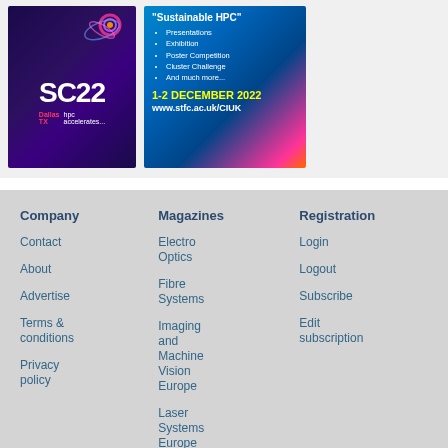[Figure (illustration): SC22 conference advertisement banner with dark purple/blue background, spiral design, 'SC22' text, Dallas TX HPC Accelerates branding]
[Figure (illustration): Sustainable HPC advertisement with blue/pink gradient, bullet list of event features, '1-2 DECEMBER 2022' date in yellow, www.stfc.ac.uk/CIUK URL]
Company
Magazines
Registration
Contact
About
Advertise
Terms & conditions
Privacy policy
Electro Optics
Fibre Systems
Imaging and Machine Vision Europe
Laser Systems Europe
Research Information
Login
Logout
Subscribe
Edit subscription